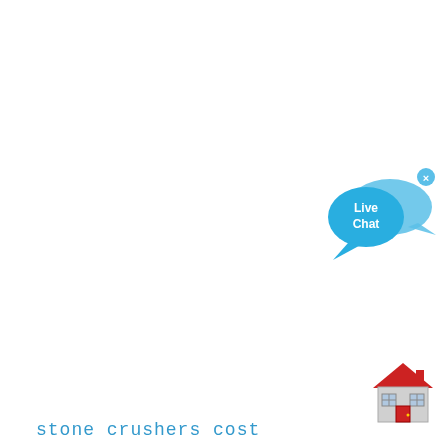[Figure (illustration): Live Chat bubble icon — two overlapping speech bubbles in blue, with text 'Live Chat' in white, and a small 'x' close button in the top-right corner.]
[Figure (illustration): House/home icon — a stylized red-roofed house with grey walls, windows, and a red door.]
stone crushers cost